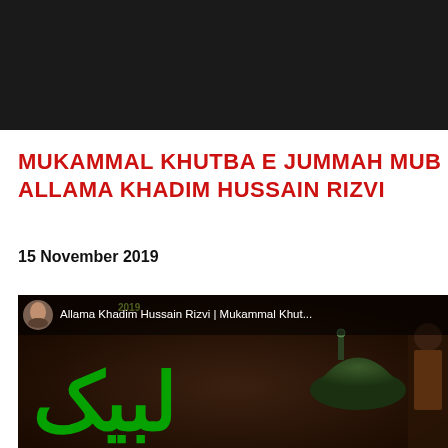[Figure (photo): Dark banner/header image at top of page, dark background approximately 448x130px]
MUKAMMAL KHUTBA E JUMMAH MUB... ALLAMA KHADIM HUSSAIN RIZVI
15 November 2019
[Figure (screenshot): Video thumbnail showing Allama Khadim Hussain Rizvi Mukammal Khut... with Urdu calligraphy in green, dome of mosque in background, and speaker silhouette on right. Text overlay reads: Allama Khadim Hussain Rizvi | Mukammal Khut...]